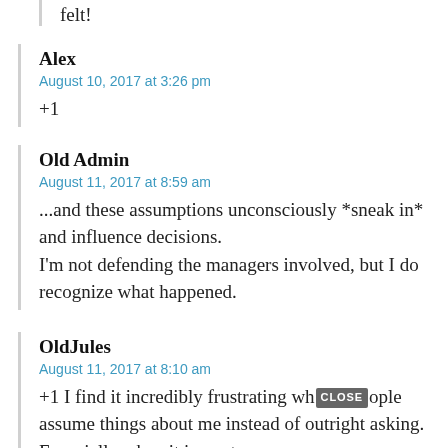felt!
Alex
August 10, 2017 at 3:26 pm
+1
Old Admin
August 11, 2017 at 8:59 am
...and these assumptions unconsciously *sneak in* and influence decisions. I'm not defending the managers involved, but I do recognize what happened.
OldJules
August 11, 2017 at 8:10 am
+1 I find it incredibly frustrating wh[CLOSE]ople assume things about me instead of outright asking. Especially when it impacts my career.